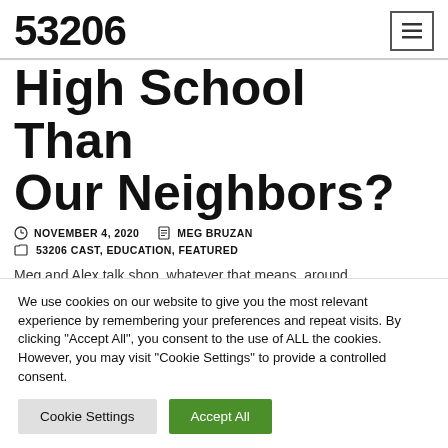53206
High School Than Our Neighbors?
NOVEMBER 4, 2020   MEG BRUZAN
53206 CAST, EDUCATION, FEATURED
Meg and Alex talk shop, whatever that means, around
We use cookies on our website to give you the most relevant experience by remembering your preferences and repeat visits. By clicking "Accept All", you consent to the use of ALL the cookies. However, you may visit "Cookie Settings" to provide a controlled consent.